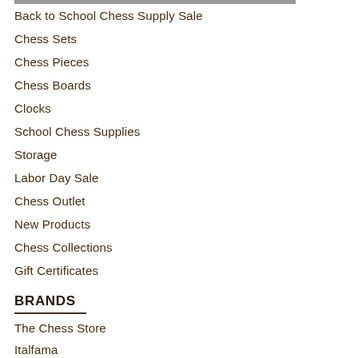Back to School Chess Supply Sale
Chess Sets
Chess Pieces
Chess Boards
Clocks
School Chess Supplies
Storage
Labor Day Sale
Chess Outlet
New Products
Chess Collections
Gift Certificates
BRANDS
The Chess Store
Italfama
Rechapados Ferrer